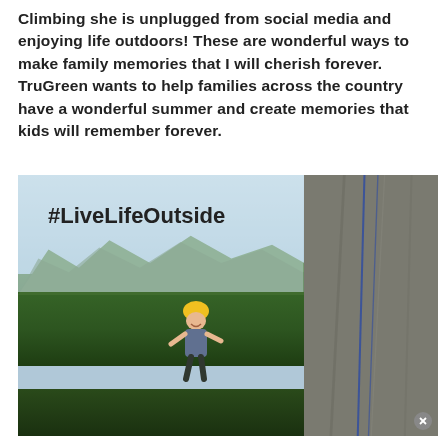Climbing she is unplugged from social media and enjoying life outdoors!  These are wonderful ways to make family memories that I will cherish forever. TruGreen wants to help families across the country have a wonderful summer and create memories that kids will remember forever.
[Figure (photo): Photo of a young person rock climbing on a large granite boulder with a scenic mountain and forest backdrop. The text '#LiveLifeOutside' is overlaid in the upper-left area of the image. The climber is wearing a yellow helmet and smiling at the camera.]